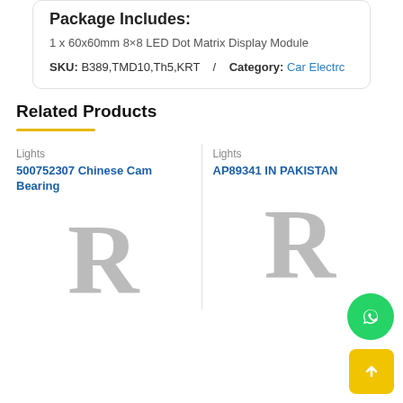Package Includes:
1 x 60x60mm 8×8 LED Dot Matrix Display Module
SKU: B389,TMD10,Th5,KRT / Category: Car Electrc
Related Products
Lights
500752307 Chinese Cam Bearing
Lights
AP89341 IN PAKISTAN
[Figure (illustration): Placeholder letter R graphic for product image left]
[Figure (illustration): Placeholder letter R graphic for product image right]
[Figure (logo): WhatsApp floating action button (green circle with chat icon)]
[Figure (other): Scroll-to-top floating button (yellow square with up arrow)]